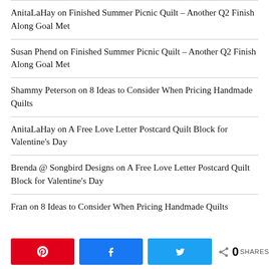AnitaLaHay on Finished Summer Picnic Quilt – Another Q2 Finish Along Goal Met
Susan Phend on Finished Summer Picnic Quilt – Another Q2 Finish Along Goal Met
Shammy Peterson on 8 Ideas to Consider When Pricing Handmade Quilts
AnitaLaHay on A Free Love Letter Postcard Quilt Block for Valentine's Day
Brenda @ Songbird Designs on A Free Love Letter Postcard Quilt Block for Valentine's Day
Fran on 8 Ideas to Consider When Pricing Handmade Quilts
Pinterest | Facebook | Twitter | 0 SHARES